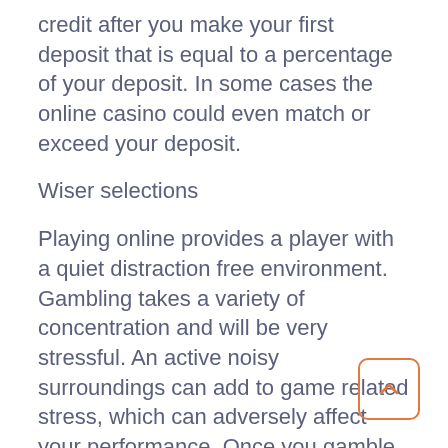credit after you make your first deposit that is equal to a percentage of your deposit. In some cases the online casino could even match or exceed your deposit.
Wiser selections
Playing online provides a player with a quiet distraction free environment. Gambling takes a variety of concentration and will be very stressful. An active noisy surroundings can add to game related stress, which can adversely affect your performance. Once you gamble at home you do not have to fret about what you wear, and you can listen to music you want or watch TV while playing.
Practicing is less complicated